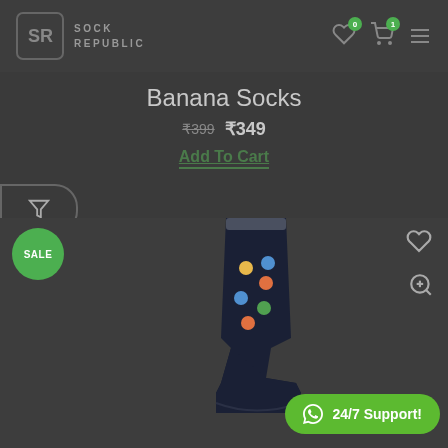SOCK REPUBLIC
Banana Socks
₹399 ₹349
Add To Cart
[Figure (photo): Banana patterned dark navy crew socks shown against dark background with SALE badge, wishlist heart icon, and zoom icon]
24/7 Support!